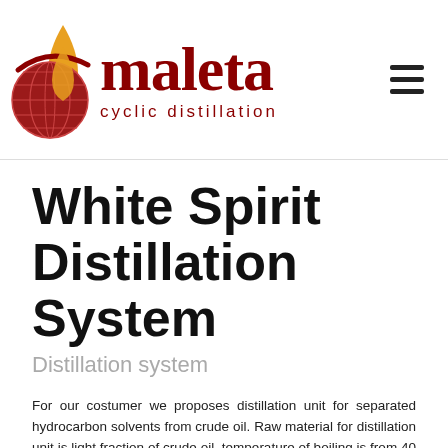[Figure (logo): Maleta cyclic distillation logo with globe and liquid drop graphic in red, dark red and orange/yellow, with company name 'maleta' in dark red serif font and 'cyclic distillation' in red below]
White Spirit Distillation System
Distillation system
For our costumer we proposes distillation unit for separated hydrocarbon solvents from crude oil. Raw material for distillation unit is light fraction of crude oil, temperature of boiling is from 40 to 340 C. Our technology and equipment make possibilities to produce high-quality products with low project investment and operating costs.